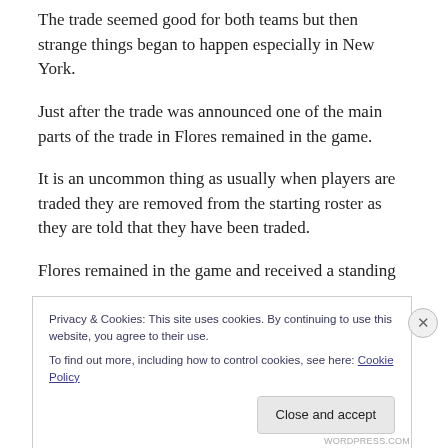The trade seemed good for both teams but then strange things began to happen especially in New York.
Just after the trade was announced one of the main parts of the trade in Flores remained in the game.
It is an uncommon thing as usually when players are traded they are removed from the starting roster as they are told that they have been traded.
Flores remained in the game and received a standing
Privacy & Cookies: This site uses cookies. By continuing to use this website, you agree to their use.
To find out more, including how to control cookies, see here: Cookie Policy
Close and accept